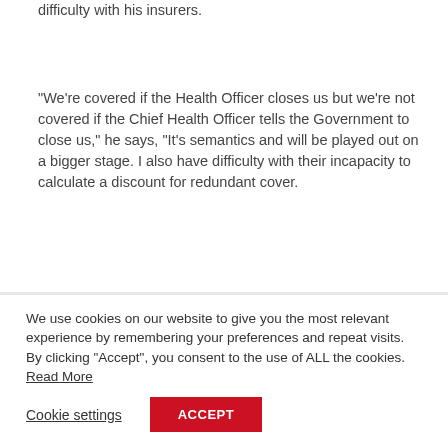difficulty with his insurers.
“We’re covered if the Health Officer closes us but we’re not covered if the Chief Health Officer tells the Government to close us,” he says, “It’s semantics and will be played out on a bigger stage. I also have difficulty with their incapacity to calculate a discount for redundant cover.
“Most cover is determined by calculations based on turnover and payroll so how difficult is it to calculate a rebate on the same basis? The one piece of advice
We use cookies on our website to give you the most relevant experience by remembering your preferences and repeat visits. By clicking “Accept”, you consent to the use of ALL the cookies. Read More
Cookie settings
ACCEPT